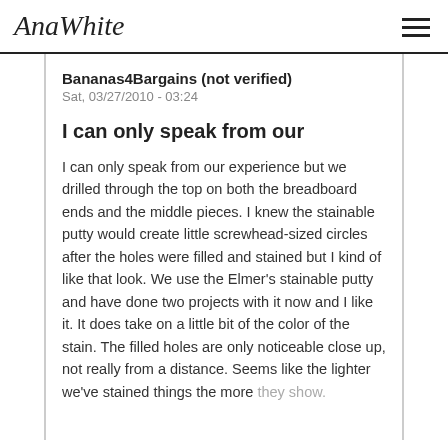AnaWhite
Bananas4Bargains (not verified)
Sat, 03/27/2010 - 03:24
I can only speak from our
I can only speak from our experience but we drilled through the top on both the breadboard ends and the middle pieces. I knew the stainable putty would create little screwhead-sized circles after the holes were filled and stained but I kind of like that look. We use the Elmer's stainable putty and have done two projects with it now and I like it. It does take on a little bit of the color of the stain. The filled holes are only noticeable close up, not really from a distance. Seems like the lighter we've stained things the more they show.